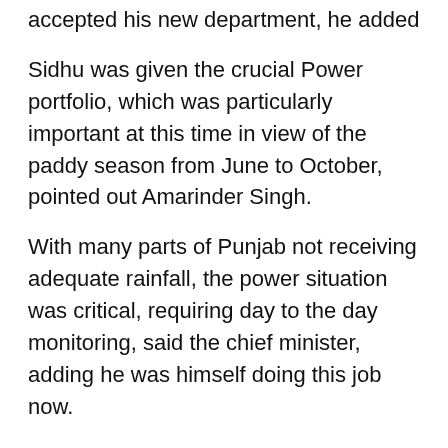accepted his new department, he added
Sidhu was given the crucial Power portfolio, which was particularly important at this time in view of the paddy season from June to October, pointed out Amarinder Singh.
With many parts of Punjab not receiving adequate rainfall, the power situation was critical, requiring day to the day monitoring, said the chief minister, adding he was himself doing this job now.
Amarinder Singh expressed unhappiness with the statement issued by Sidhu and his wife regarding the latter's candidature for the parliamentary elections. He clarified that he had never opposed Sidhu's wife Navjot Kaur Sidhu's candidature and had suggested she should